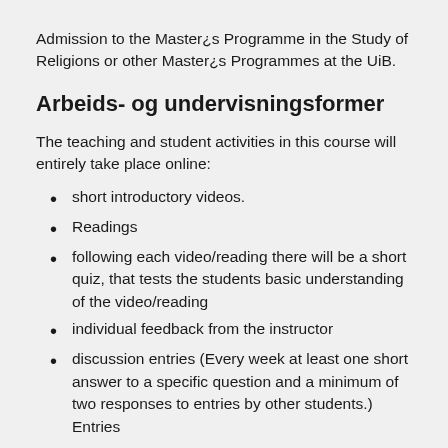Admission to the Master¿s Programme in the Study of Religions or other Master¿s Programmes at the UiB.
Arbeids- og undervisningsformer
The teaching and student activities in this course will entirely take place online:
short introductory videos.
Readings
following each video/reading there will be a short quiz, that tests the students basic understanding of the video/reading
individual feedback from the instructor
discussion entries (Every week at least one short answer to a specific question and a minimum of two responses to entries by other students.) Entries